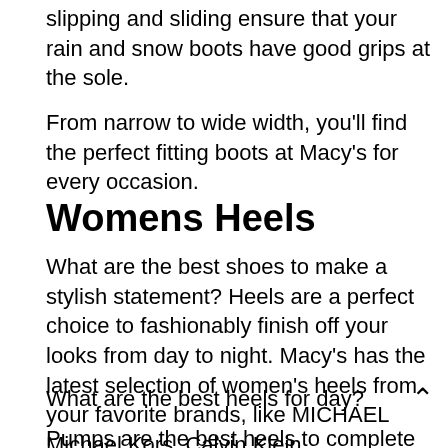slipping and sliding ensure that your rain and snow boots have good grips at the sole.
From narrow to wide width, you'll find the perfect fitting boots at Macy's for every occasion.
Womens Heels
What are the best shoes to make a stylish statement? Heels are a perfect choice to fashionably finish off your looks from day to night. Macy's has the latest selection of women's heels from your favorite brands, like MICHAEL Michael Kors, Calvin Klein,
Nine West and I.N.C. International Concepts.
What are the best heels for day?
Pumps are the best heels to complete your office